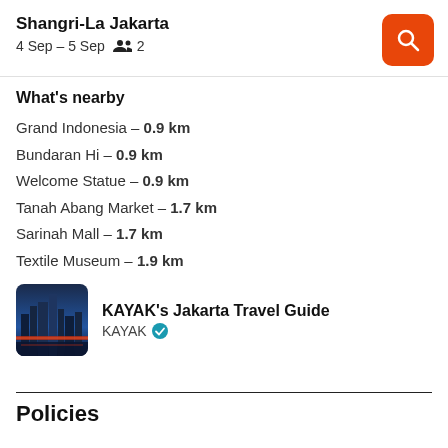Shangri-La Jakarta
4 Sep – 5 Sep   2
What's nearby
Grand Indonesia – 0.9 km
Bundaran Hi – 0.9 km
Welcome Statue – 0.9 km
Tanah Abang Market – 1.7 km
Sarinah Mall – 1.7 km
Textile Museum – 1.9 km
[Figure (photo): City skyline thumbnail for KAYAK Jakarta Travel Guide]
KAYAK's Jakarta Travel Guide
KAYAK ✓
Policies